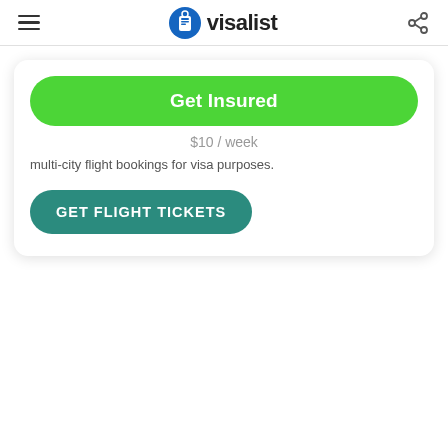visalist
Get Insured
$10 / week
multi-city flight bookings for visa purposes.
GET FLIGHT TICKETS